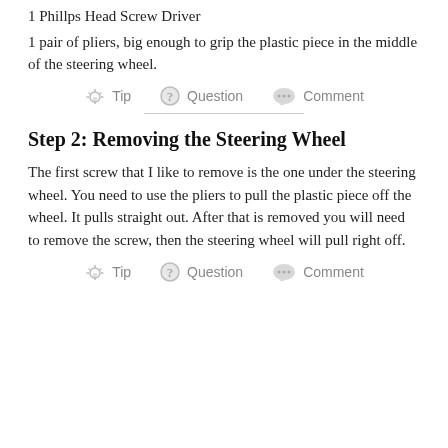1 Phillips Head Screw Driver
1 pair of pliers, big enough to grip the plastic piece in the middle of the steering wheel.
Tip  Question  Comment
Step 2: Removing the Steering Wheel
The first screw that I like to remove is the one under the steering wheel. You need to use the pliers to pull the plastic piece off the wheel. It pulls straight out. After that is removed you will need to remove the screw, then the steering wheel will pull right off.
Tip  Question  Comment